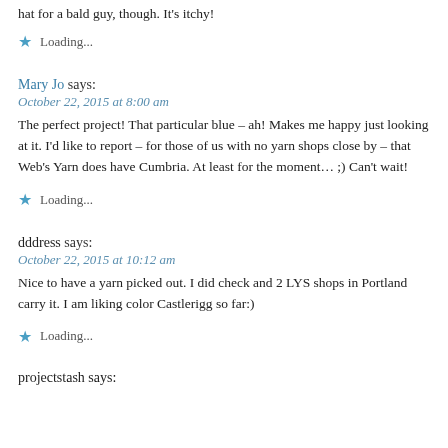hat for a bald guy, though. It's itchy!
Loading...
Mary Jo says:
October 22, 2015 at 8:00 am
The perfect project! That particular blue – ah! Makes me happy just looking at it. I'd like to report – for those of us with no yarn shops close by – that Web's Yarn does have Cumbria. At least for the moment… ;) Can't wait!
Loading...
dddress says:
October 22, 2015 at 10:12 am
Nice to have a yarn picked out. I did check and 2 LYS shops in Portland carry it. I am liking color Castlerigg so far:)
Loading...